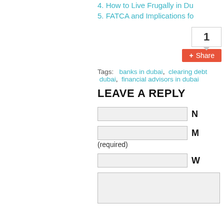4. How to Live Frugally in Du…
5. FATCA and Implications fo…
1 [share count] Share button
Tags: banks in dubai, clearing debt, dubai, financial advisors in dubai
LEAVE A REPLY
Name field, Mail (required) field, Website field, Comment textarea